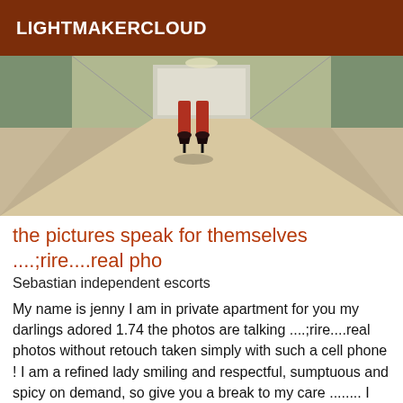LIGHTMAKERCLOUD
[Figure (photo): Photo of a hallway with a person's legs wearing red high heels, viewed from behind, walking away down a corridor with green walls and light flooring.]
the pictures speak for themselves ....;rire....real pho
Sebastian independent escorts
My name is jenny I am in private apartment for you my darlings adored 1.74 the photos are talking ....;rire....real photos without retouch taken simply with such a cell phone ! I am a refined lady smiling and respectful, sumptuous and spicy on demand, so give you a break to my care ........ I receive you. offers different types of massage and relaxation, all in a warm, pleasant, clean